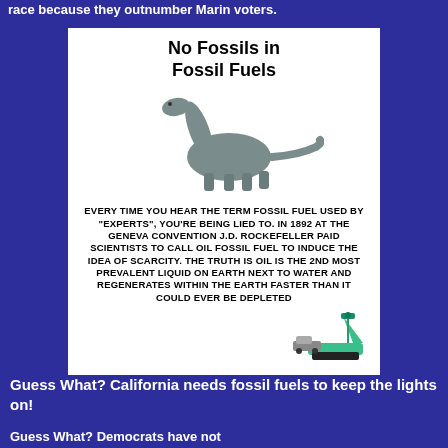race because they outnumber Marin voters.
[Figure (infographic): Infographic with title 'No Fossils in Fossil Fuels', a dinosaur image, and text claiming oil was named 'fossil fuel' by J.D. Rockefeller at the 1892 Geneva Convention to induce scarcity, and that oil is the 2nd most prevalent liquid on Earth and regenerates faster than it can be depleted. Includes an oil rig illustration at the bottom.]
Guess What?  California needs fossil fuels to keep the lights on!
Guess What? Democrats have not